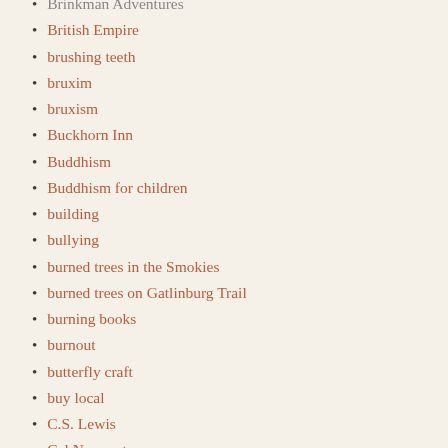Brinkman Adventures
British Empire
brushing teeth
bruxim
bruxism
Buckhorn Inn
Buddhism
Buddhism for children
building
bullying
burned trees in the Smokies
burned trees on Gatlinburg Trail
burning books
burnout
butterfly craft
buy local
C.S. Lewis
Cal Newport